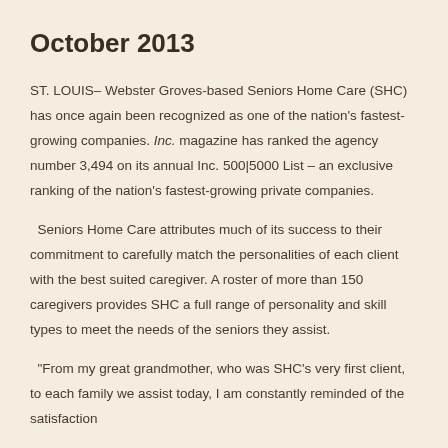October 2013
ST. LOUIS– Webster Groves-based Seniors Home Care (SHC) has once again been recognized as one of the nation’s fastest-growing companies. Inc. magazine has ranked the agency number 3,494 on its annual Inc. 500|5000 List – an exclusive ranking of the nation's fastest-growing private companies.
Seniors Home Care attributes much of its success to their commitment to carefully match the personalities of each client with the best suited caregiver. A roster of more than 150 caregivers provides SHC a full range of personality and skill types to meet the needs of the seniors they assist.
“From my great grandmother, who was SHC’s very first client, to each family we assist today, I am constantly reminded of the satisfaction